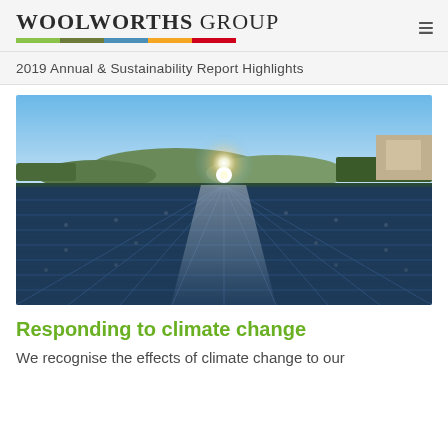Woolworths Group
2019 Annual & Sustainability Report Highlights
[Figure (photo): Aerial view of rooftop solar panels reflecting sunlight, with hills and buildings visible in the background under a clear blue sky.]
Responding to climate change
We recognise the effects of climate change to our